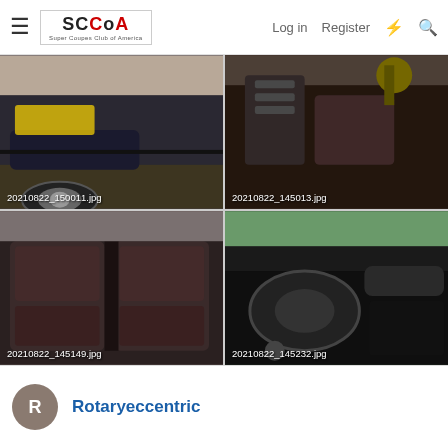SCCoA — Super Coupes Club of America | Log in | Register
[Figure (photo): Front view of a dark blue/black car, low angle showing front bumper and wheel. Filename label: 20210822_150011.jpg]
[Figure (photo): Close-up of a greasy engine component or mechanical part. Filename label: 20210822_145013.jpg]
[Figure (photo): Interior rear seats of a car with dark leather upholstery. Filename label: 20210822_145149.jpg]
[Figure (photo): Dashboard and steering wheel interior of a car. Filename label: 20210822_145232.jpg]
Rotaryeccentric